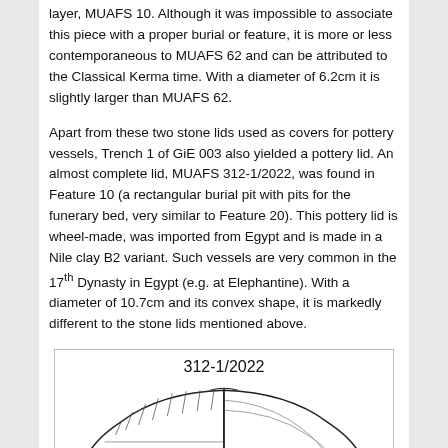layer, MUAFS 10. Although it was impossible to associate this piece with a proper burial or feature, it is more or less contemporaneous to MUAFS 62 and can be attributed to the Classical Kerma time. With a diameter of 6.2cm it is slightly larger than MUAFS 62.
Apart from these two stone lids used as covers for pottery vessels, Trench 1 of GiE 003 also yielded a pottery lid. An almost complete lid, MUAFS 312-1/2022, was found in Feature 10 (a rectangular burial pit with pits for the funerary bed, very similar to Feature 20). This pottery lid is wheel-made, was imported from Egypt and is made in a Nile clay B2 variant. Such vessels are very common in the 17th Dynasty in Egypt (e.g. at Elephantine). With a diameter of 10.7cm and its convex shape, it is markedly different to the stone lids mentioned above.
[Figure (illustration): Archaeological drawing of pottery lid MUAFS 312-1/2022 showing a cross-section profile view of a convex dome-shaped lid with hatching lines indicating the ceramic material. The title '312-1/2022' appears above the drawing.]